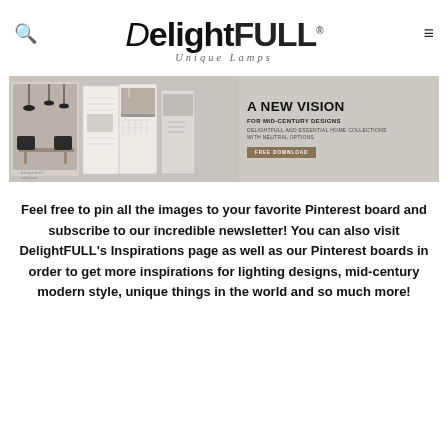DelightFULL Unique Lamps
[Figure (illustration): A promotional banner for DelightFULL featuring open catalog books with interior design photos on the left, and text on the right: 'A NEW VISION FOR MID-CENTURY DESIGNS - DELIGHTFULL AND ESSENTIAL HOME COLLECTIONS WITH NEUTRAL OPTIONS' with a FREE DOWNLOAD button.]
Feel free to pin all the images to your favorite Pinterest board and subscribe to our incredible newsletter! You can also visit DelightFULL's Inspirations page as well as our Pinterest boards in order to get more inspirations for lighting designs, mid-century modern style, unique things in the world and so much more!